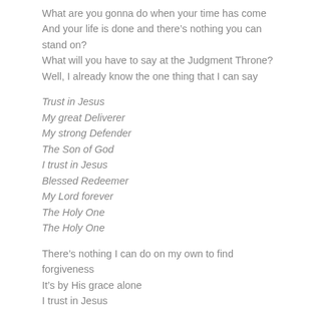What are you gonna do when your time has come
And your life is done and there’s nothing you can stand on?
What will you have to say at the Judgment Throne?
Well, I already know the one thing that I can say
Trust in Jesus
My great Deliverer
My strong Defender
The Son of God
I trust in Jesus
Blessed Redeemer
My Lord forever
The Holy One
The Holy One
There’s nothing I can do on my own to find forgiveness
It’s by His grace alone
I trust in Jesus